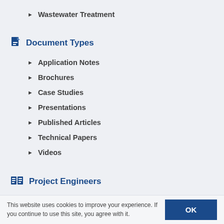Wastewater Treatment
Document Types
Application Notes
Brochures
Case Studies
Presentations
Published Articles
Technical Papers
Videos
Project Engineers
AECOM
Alabama Power Co
This website uses cookies to improve your experience. If you continue to use this site, you agree with it.